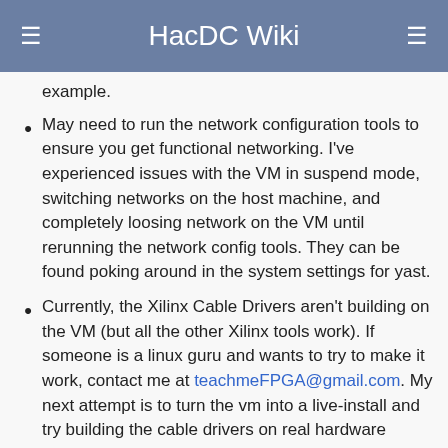HacDC Wiki
example.
May need to run the network configuration tools to ensure you get functional networking. I've experienced issues with the VM in suspend mode, switching networks on the host machine, and completely loosing network on the VM until rerunning the network config tools. They can be found poking around in the system settings for yast.
Currently, the Xilinx Cable Drivers aren't building on the VM (but all the other Xilinx tools work). If someone is a linux guru and wants to try to make it work, contact me at teachmeFPGA@gmail.com. My next attempt is to turn the vm into a live-install and try building the cable drivers on real hardware instead of a VM.
After loading the Xilinx settings (which will be covered